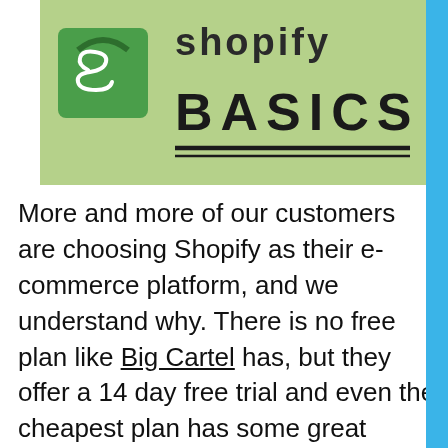[Figure (illustration): Shopify Basics header image with light green background, Shopify logo (green bag icon) on left, and handwritten-style text reading 'BASICS' with underline]
More and more of our customers are choosing Shopify as their e-commerce platform, and we understand why. There is no free plan like Big Cartel has, but they offer a 14 day free trial and even the cheapest plan has some great features and flexible selling options. Shopify is well known for